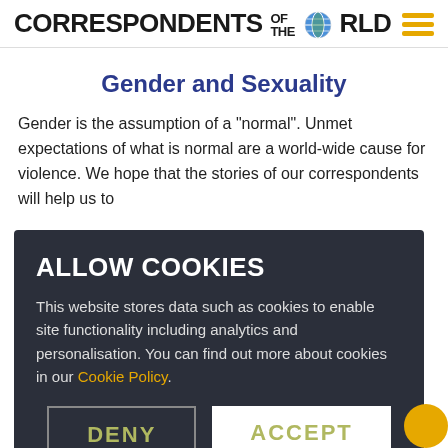CORRESPONDENTS OF THE WORLD
Gender and Sexuality
Gender is the assumption of a "normal". Unmet expectations of what is normal are a world-wide cause for violence. We hope that the stories of our correspondents will help us to
ALLOW COOKIES
This website stores data such as cookies to enable site functionality including analytics and personalisation. You can find out more about cookies in our Cookie Policy.
DENY
ACCEPT